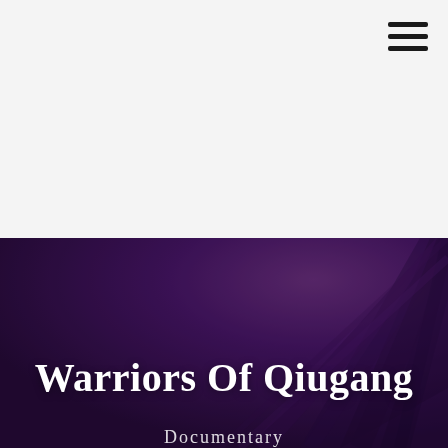[Figure (screenshot): Hamburger menu icon (three horizontal black bars) in the top-right corner on a light gray background]
[Figure (photo): Dark purple-toned background image showing fabric or feather texture with diagonal lines converging from top right, forming a moody atmospheric backdrop]
Warriors Of Qiugang
Documentary